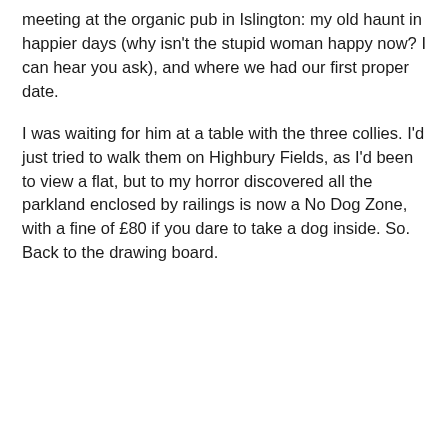meeting at the organic pub in Islington: my old haunt in happier days (why isn't the stupid woman happy now? I can hear you ask), and where we had our first proper date.
I was waiting for him at a table with the three collies. I'd just tried to walk them on Highbury Fields, as I'd been to view a flat, but to my horror discovered all the parkland enclosed by railings is now a No Dog Zone, with a fine of £80 if you dare to take a dog inside. So. Back to the drawing board.